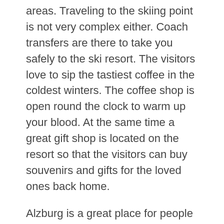areas. Traveling to the skiing point is not very complex either. Coach transfers are there to take you safely to the ski resort. The visitors love to sip the tastiest coffee in the coldest winters. The coffee shop is open round the clock to warm up your blood. At the same time a great gift shop is located on the resort so that the visitors can buy souvenirs and gifts for the loved ones back home.
Alzburg is a great place for people of all ages provided that you are ready prior to the visit.
Posted in: Accommodation
Spending Time At A Great Country Club